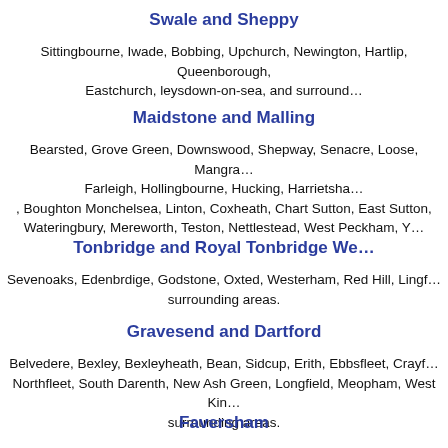Swale and Sheppy
Sittingbourne, Iwade, Bobbing, Upchurch, Newington, Hartlip, Queenborough, Eastchurch, leysdown-on-sea, and surrounding areas.
Maidstone and Malling
Bearsted, Grove Green, Downswood, Shepway, Senacre, Loose, Mangraville, Farleigh, Hollingbourne, Hucking, Harrietsham, Boughton Monchelsea, Linton, Coxheath, Chart Sutton, East Sutton, Wateringbury, Mereworth, Teston, Nettlestead, West Peckham, Yalding and surrounding areas.
Tonbridge and Royal Tonbridge Wells
Sevenoaks, Edenbrdige, Godstone, Oxted, Westerham, Red Hill, Lingfield and surrounding areas.
Gravesend and Dartford
Belvedere, Bexley, Bexleyheath, Bean, Sidcup, Erith, Ebbsfleet, Crayford, Northfleet, South Darenth, New Ash Green, Longfield, Meopham, West Kingsdown and surrounding areas.
Faversham
Luddenham Teynham Tonge and surrounding areas.
Bromley